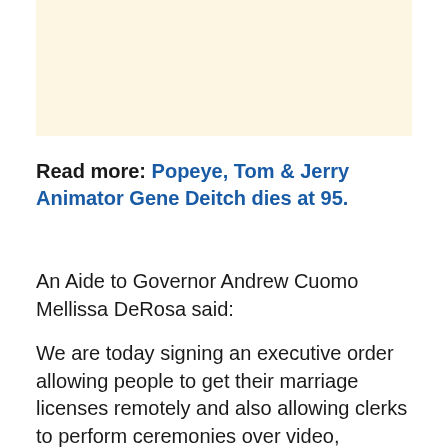[Figure (other): Advertisement placeholder box with light cream/beige background]
Read more: Popeye, Tom & Jerry Animator Gene Deitch dies at 95.
An Aide to Governor Andrew Cuomo Mellissa DeRosa said:
We are today signing an executive order allowing people to get their marriage licenses remotely and also allowing clerks to perform ceremonies over video,